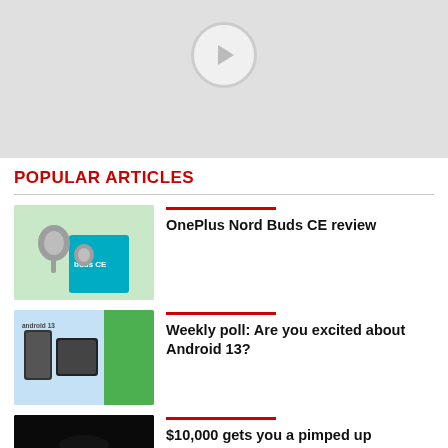[Figure (other): Top grey placeholder area with a play button circle icon]
POPULAR ARTICLES
[Figure (photo): OnePlus Nord Buds CE earbuds in grey color next to their packaging box with teal/blue color]
OnePlus Nord Buds CE review
[Figure (screenshot): Android 13 promotional image showing phones and tablets on light blue background with green panel]
Weekly poll: Are you excited about Android 13?
[Figure (photo): Dark image of a car with subtle lighting]
$10,000 gets you a pimped up